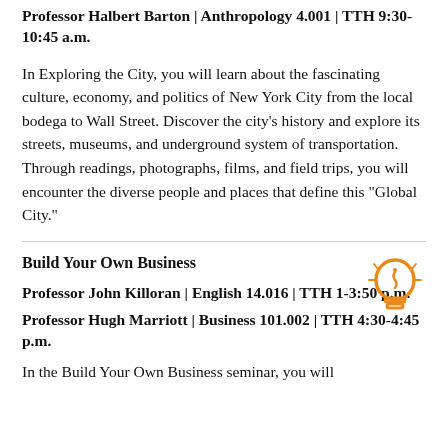Professor Halbert Barton | Anthropology 4.001 | TTH 9:30-10:45 a.m.
In Exploring the City, you will learn about the fascinating culture, economy, and politics of New York City from the local bodega to Wall Street. Discover the city’s history and explore its streets, museums, and underground system of transportation. Through readings, photographs, films, and field trips, you will encounter the diverse people and places that define this “Global City.”
Build Your Own Business
Professor John Killoran | English 14.016 | TTH 1-3:50 p.m.
Professor Hugh Marriott | Business 101.002 | TTH 4:30-4:45 p.m.
In the Build Your Own Business seminar, you will